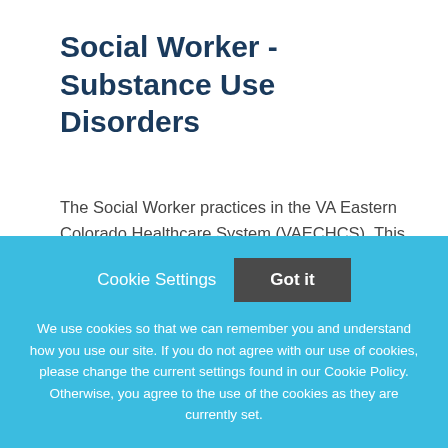Social Worker - Substance Use Disorders
The Social Worker practices in the VA Eastern Colorado Healthcare System (VAECHCS). This position is assigned to the outpatient Substance Use Disorders (SUD) Clinic under the Mental Health Service. The incumbent
This job listing is no longer active.
Cookie Settings   Got it
We use cookies so that we can remember you and understand how you use our site. If you do not agree with our use of cookies, please change the current settings found in our Cookie Policy. Otherwise, you agree to the use of the cookies as they are currently set.